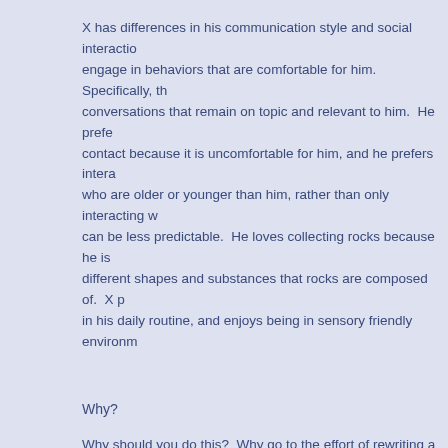X has differences in his communication style and social interaction engage in behaviors that are comfortable for him.  Specifically, th conversations that remain on topic and relevant to him.  He prefe contact because it is uncomfortable for him, and he prefers intera who are older or younger than him, rather than only interacting w can be less predictable.  He loves collecting rocks because he is different shapes and substances that rocks are composed of.  X p in his daily routine, and enjoys being in sensory friendly environm
Why?
Why should you do this?  Why go to the effort of rewriting a professional going to have to introduce your child to teachers and therapists and you more than once.  When you do, you want to do that from a place of stre weakness.  You want to highlight your child's unique potential rather tha and you don't want to have to confront all those negative words every ti you have the words you need to ensure that your child receives the sup without trading in his/her dignity.
As an autistic person, I wish that my parents had accepted me for being hard to make me into their version of me.  Their efforts to make me into unsuccessful but it did result in me feeling as though there were things w want him to be able to be him, without having other people give him the